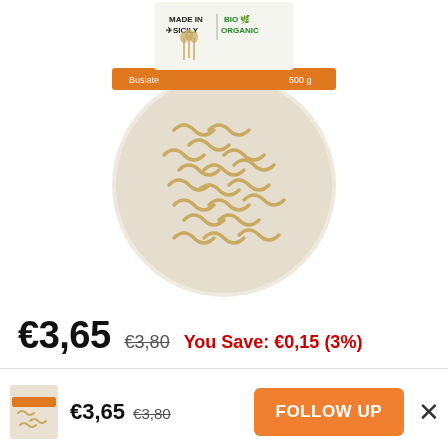[Figure (photo): Bag of made-in-Sicily bio organic pasta (twisted cavatappi/busiate shape), 500g, with orange label band reading the brand name and '500 g'. Top of bag shows 'MADE IN SICILY | BIO ORGANIC' logos.]
€3,65  €3,80  You Save: €0,15 (3%)
€3,65  €3,80  FOLLOW UP  ×